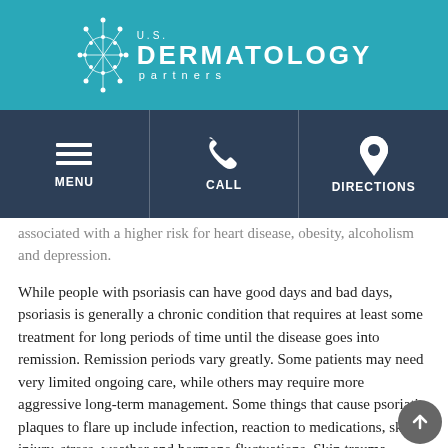[Figure (logo): U.S. Dermatology Partners logo — white text with decorative dots pattern on teal background]
[Figure (infographic): Navigation bar with three icons: hamburger menu (MENU), phone (CALL), location pin (DIRECTIONS) on dark blue background]
associated with a higher risk for heart disease, obesity, alcoholism and depression.
While people with psoriasis can have good days and bad days, psoriasis is generally a chronic condition that requires at least some treatment for long periods of time until the disease goes into remission. Remission periods vary greatly. Some patients may need very limited ongoing care, while others may require more aggressive long-term management. Some things that cause psoriatic plaques to flare up include infection, reaction to medications, skin injury, stress, weather and hormone fluctuations. Skin trauma — bites, bruises, cuts and scrapes and other such traumas affecting the skin — can also cause flare-ups or stimulate the over-production of skin cells.
Despite the fact that psoriasis is one of the oldest-recorded skin